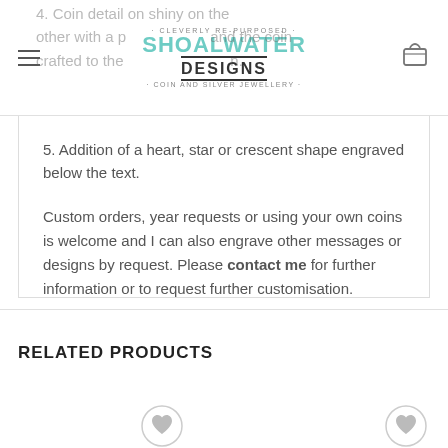Shoalwater Designs - Cleverly Re-Purposed Coin and Silver Jewellery
4. Coin detail on one side and shiny on the other with a polished face and the coin crafted to the shape of the coin.
5. Addition of a heart, star or crescent shape engraved below the text.
Custom orders, year requests or using your own coins is welcome and I can also engrave other messages or designs by request. Please contact me for further information or to request further customisation.
RELATED PRODUCTS